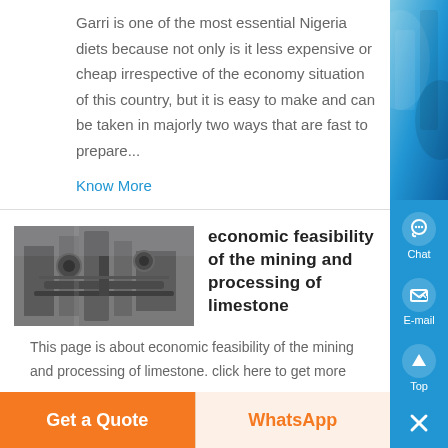Garri is one of the most essential Nigeria diets because not only is it less expensive or cheap irrespective of the economy situation of this country, but it is easy to make and can be taken in majorly two ways that are fast to prepare...
Know More
[Figure (photo): Industrial mining or processing facility interior showing machinery and equipment]
economic feasibility of the mining and processing of limestone
This page is about economic feasibility of the mining and processing of limestone. click here to get more...
Get a Quote
WhatsApp